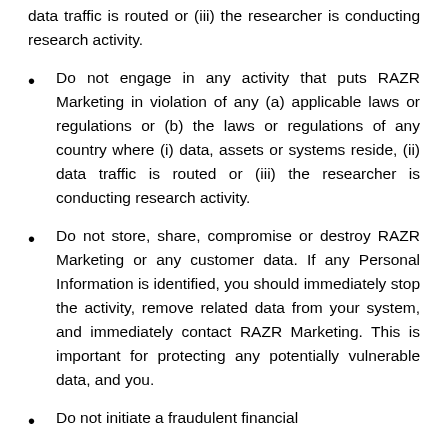data traffic is routed or (iii) the researcher is conducting research activity.
Do not engage in any activity that puts RAZR Marketing in violation of any (a) applicable laws or regulations or (b) the laws or regulations of any country where (i) data, assets or systems reside, (ii) data traffic is routed or (iii) the researcher is conducting research activity.
Do not store, share, compromise or destroy RAZR Marketing or any customer data. If any Personal Information is identified, you should immediately stop the activity, remove related data from your system, and immediately contact RAZR Marketing. This is important for protecting any potentially vulnerable data, and you.
Do not initiate a fraudulent financial